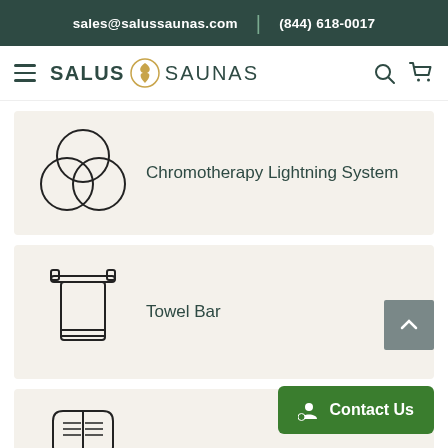sales@salussaunas.com | (844) 618-0017
[Figure (logo): Salus Saunas logo with hamburger menu, search icon, and cart icon]
[Figure (illustration): Chromotherapy icon: three overlapping circles (Venn diagram style)]
Chromotherapy Lightning System
[Figure (illustration): Towel bar icon: towel hanging on a bar rack]
Towel Bar
[Figure (illustration): Partial book/manual icon at bottom of page]